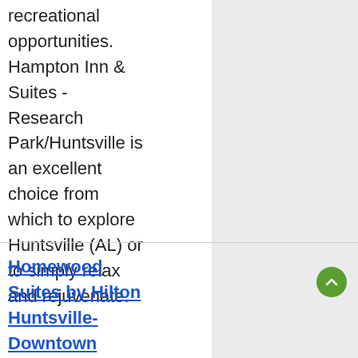recreational opportunities. Hampton Inn & Suites - Research Park/Huntsville is an excellent choice from which to explore Huntsville (AL) or to simply relax and rejuvenate.
Homewood Suites by Hilton Huntsville-Downtown
Offering an outdoor pool and